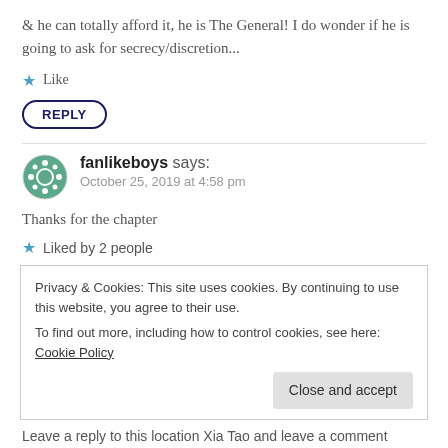& he can totally afford it, he is The General! I do wonder if he is going to ask for secrecy/discretion...
★ Like
REPLY
fanlikeboys says:
October 25, 2019 at 4:58 pm
Thanks for the chapter
★ Liked by 2 people
Privacy & Cookies: This site uses cookies. By continuing to use this website, you agree to their use.
To find out more, including how to control cookies, see here: Cookie Policy
Close and accept
Leave a reply to this location Xia Tao and leave a comment